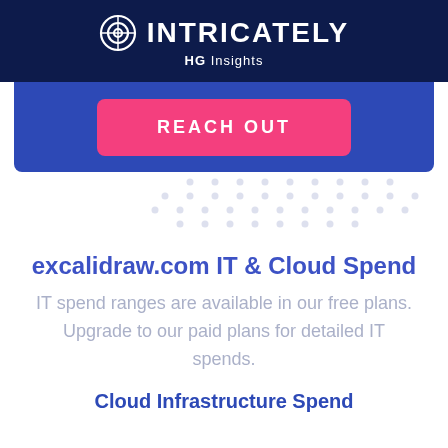INTRICATELY HG Insights
[Figure (other): Blue banner with pink REACH OUT button]
[Figure (other): Decorative dot pattern background]
excalidraw.com IT & Cloud Spend
IT spend ranges are available in our free plans. Upgrade to our paid plans for detailed IT spends.
Cloud Infrastructure Spend